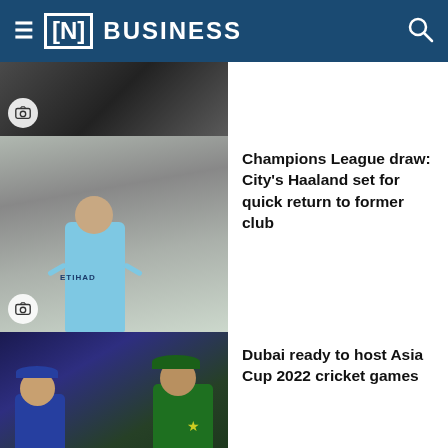[N] BUSINESS
[Figure (photo): Cropped top portion of an article image (partially visible)]
[Figure (photo): Erling Haaland in Manchester City light blue jersey celebrating in front of a crowd]
Champions League draw: City's Haaland set for quick return to former club
[Figure (photo): India and Pakistan cricket players in team jerseys walking on a cricket field]
Dubai ready to host Asia Cup 2022 cricket games
[Figure (photo): Partially visible image for the next article]
Where are the best places